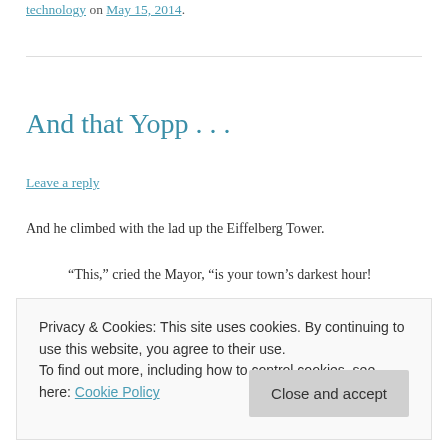technology on May 15, 2014.
And that Yopp . . .
Leave a reply
And he climbed with the lad up the Eiffelberg Tower.
“This,” cried the Mayor, “is your town’s darkest hour!
Privacy & Cookies: This site uses cookies. By continuing to use this website, you agree to their use.
To find out more, including how to control cookies, see here: Cookie Policy
Close and accept